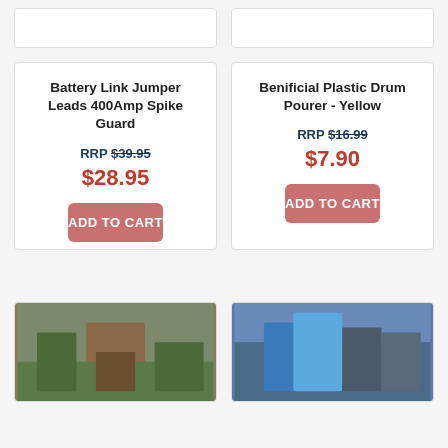[Figure (other): Top-left product card with empty image area (cropped at top)]
[Figure (other): Top-right product card with empty image area (cropped at top)]
Battery Link Jumper Leads 400Amp Spike Guard
RRP $39.95
$28.95
ADD TO CART
Benificial Plastic Drum Pourer - Yellow
RRP $16.99
$7.90
ADD TO CART
[Figure (photo): Bottom-left product card showing a person in a forest/outdoor setting]
[Figure (photo): Bottom-right product card showing people with outdoor gear/backpacks near a vehicle]